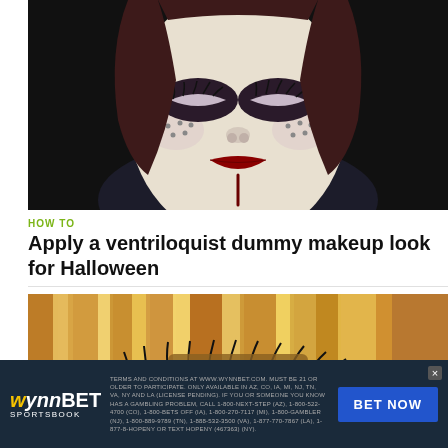[Figure (photo): Close-up photo of a woman wearing ventriloquist dummy Halloween makeup: white face paint, dramatic dark eye makeup, red lips with a painted line dripping down the chin, and small dots on cheeks. Dark background.]
HOW TO
Apply a ventriloquist dummy makeup look for Halloween
[Figure (photo): Close-up photo of a woman with blonde hair and dramatic eye makeup with long lashes and a blue/green eye visible, partially cropped.]
[Figure (other): WynnBET Sportsbook advertisement banner with logo on left, small legal disclaimer text in center, and blue BET NOW button on right. Close button (x) in top-right corner.]